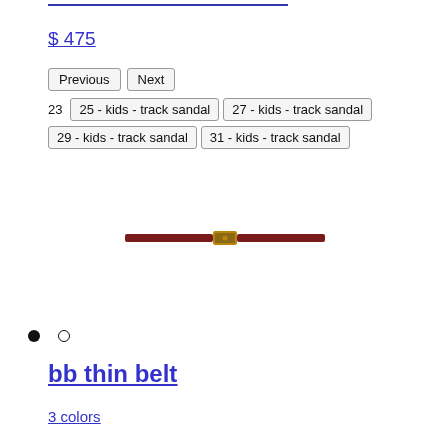$ 475
Previous  Next
23  25 - kids - track sandal  27 - kids - track sandal
29 - kids - track sandal  31 - kids - track sandal
[Figure (photo): A thin dark brown/maroon leather belt with a gold buckle, displayed horizontally against a white background.]
● ○
bb thin belt
3 colors